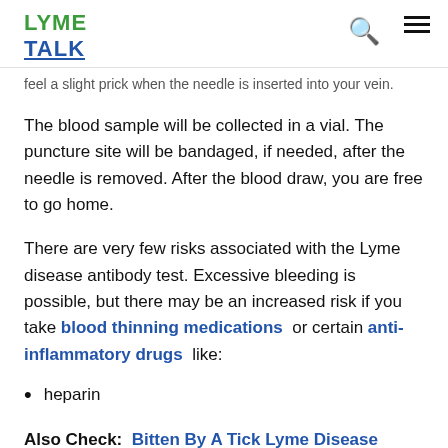LYME TALK
feel a slight prick when the needle is inserted into your vein.
The blood sample will be collected in a vial. The puncture site will be bandaged, if needed, after the needle is removed. After the blood draw, you are free to go home.
There are very few risks associated with the Lyme disease antibody test. Excessive bleeding is possible, but there may be an increased risk if you take blood thinning medications or certain anti-inflammatory drugs like:
heparin
Also Check: Bitten By A Tick Lyme Disease